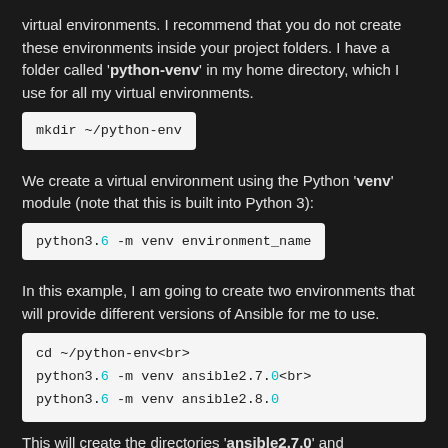virtual environments. I recommend that you do not create these environments inside your project folders. I have a folder called 'python-venv' in my home directory, which I use for all my virtual environments.
mkdir ~/python-env
We create a virtual environment using the Python 'venv' module (note that this is built into Python 3):
python3.6 -m venv environment_name
In this example, I am going to create two environments that will provide different versions of Ansible for me to use.
cd ~/python-env<br>
python3.6 -m venv ansible2.7.0<br>
python3.6 -m venv ansible2.8.0
This will create the directories 'ansible2.7.0' and 'ansible2.8.0' under '~/python-env', that contains the binaries and base libraries for the environment.
Next, we need to activate an environment by sourcing an